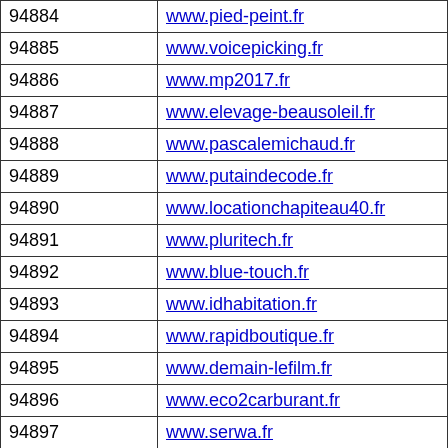| ID | URL |
| --- | --- |
| 94884 | www.pied-peint.fr |
| 94885 | www.voicepicking.fr |
| 94886 | www.mp2017.fr |
| 94887 | www.elevage-beausoleil.fr |
| 94888 | www.pascalemichaud.fr |
| 94889 | www.putaindecode.fr |
| 94890 | www.locationchapiteau40.fr |
| 94891 | www.pluritech.fr |
| 94892 | www.blue-touch.fr |
| 94893 | www.idhabitation.fr |
| 94894 | www.rapidboutique.fr |
| 94895 | www.demain-lefilm.fr |
| 94896 | www.eco2carburant.fr |
| 94897 | www.serwa.fr |
| 94898 | www.azdis.fr |
| 94899 | www.funmedias13.fr |